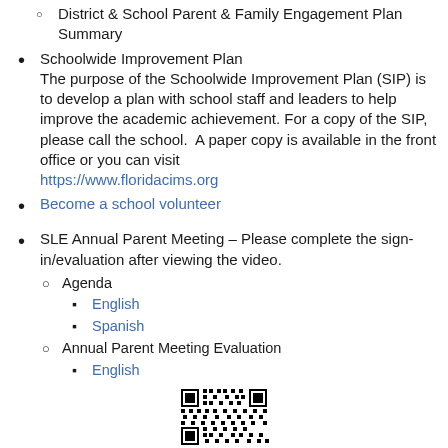District & School Parent & Family Engagement Plan Summary
Schoolwide Improvement Plan — The purpose of the Schoolwide Improvement Plan (SIP) is to develop a plan with school staff and leaders to help improve the academic achievement. For a copy of the SIP, please call the school.  A paper copy is available in the front office or you can visit https://www.floridacims.org
Become a school volunteer
SLE Annual Parent Meeting – Please complete the sign-in/evaluation after viewing the video.
Agenda
English
Spanish
Annual Parent Meeting Evaluation
English
[Figure (other): QR code at the bottom of the page]